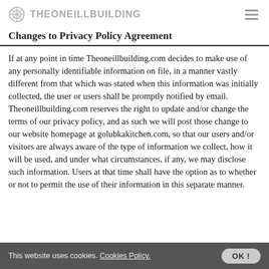THEONEILLBUILDING
Changes to Privacy Policy Agreement
If at any point in time Theoneillbuilding.com decides to make use of any personally identifiable information on file, in a manner vastly different from that which was stated when this information was initially collected, the user or users shall be promptly notified by email. Theoneillbuilding.com reserves the right to update and/or change the terms of our privacy policy, and as such we will post those change to our website homepage at golubkakitchen.com, so that our users and/or visitors are always aware of the type of information we collect, how it will be used, and under what circumstances, if any, we may disclose such information. Users at that time shall have the option as to whether or not to permit the use of their information in this separate manner.
This website uses cookies. Cookies Policy. OK!